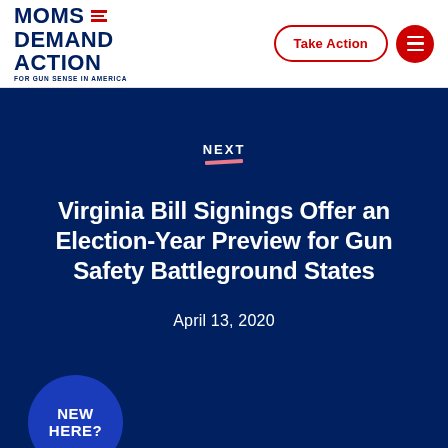[Figure (logo): Moms Demand Action for Gun Sense in America logo with red horizontal lines and blue text]
Take Action
[Figure (other): Red hamburger menu button]
NEXT
Virginia Bill Signings Offer an Election-Year Preview for Gun Safety Battleground States
April 13, 2020
NEW HERE?